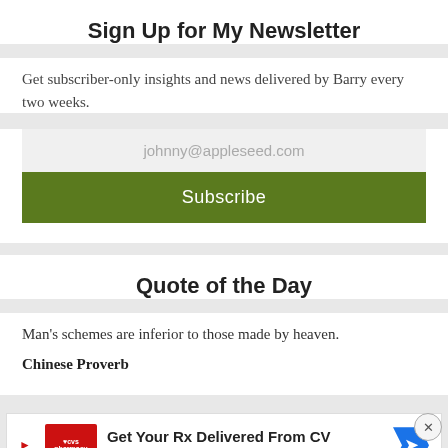Sign Up for My Newsletter
Get subscriber-only insights and news delivered by Barry every two weeks.
johnny@appleseed.com
Subscribe
Quote of the Day
Man's schemes are inferior to those made by heaven.
Chinese Proverb
[Figure (other): CVS Pharmacy advertisement banner: 'Get Your Rx Delivered From CV' with CVS Pharmacy logo and blue navigation arrow]